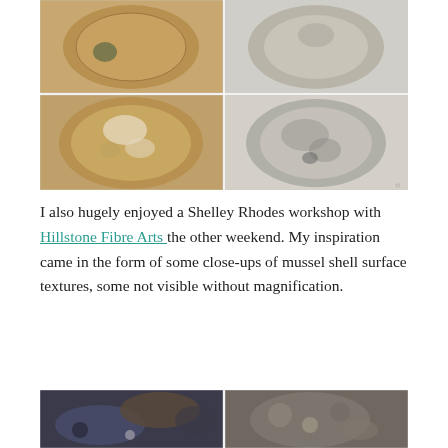[Figure (photo): 2x2 grid of close-up photos of mussel shells showing textured surfaces in earthy brown, grey, and green tones.]
I also hugely enjoyed a Shelley Rhodes workshop with Hillstone Fibre Arts the other weekend. My inspiration came in the form of some close-ups of mussel shell surface textures, some not visible without magnification.
[Figure (photo): Two close-up macro photos of mussel shell surfaces showing barnacles, encrustation, and blue-grey rocky textures.]